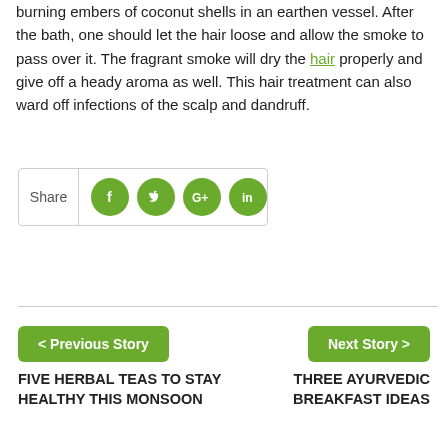burning embers of coconut shells in an earthen vessel. After the bath, one should let the hair loose and allow the smoke to pass over it. The fragrant smoke will dry the hair properly and give off a heady aroma as well. This hair treatment can also ward off infections of the scalp and dandruff.
[Figure (infographic): Social share box with Share label and four green circular social media icons: Facebook (f), Twitter (bird), Google+ (G+), LinkedIn (in)]
< Previous Story
FIVE HERBAL TEAS TO STAY HEALTHY THIS MONSOON
Next Story >
THREE AYURVEDIC BREAKFAST IDEAS